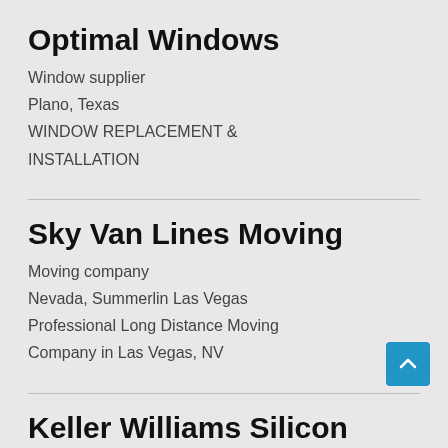Optimal Windows
Window supplier
Plano, Texas
WINDOW REPLACEMENT & INSTALLATION
Sky Van Lines Moving
Moving company
Nevada, Summerlin Las Vegas
Professional Long Distance Moving Company in Las Vegas, NV
Keller Williams Silicon Valley: